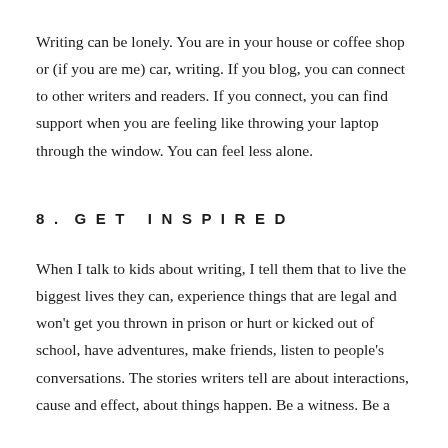Writing can be lonely. You are in your house or coffee shop or (if you are me) car, writing. If you blog, you can connect to other writers and readers. If you connect, you can find support when you are feeling like throwing your laptop through the window. You can feel less alone.
8. GET INSPIRED
When I talk to kids about writing, I tell them that to live the biggest lives they can, experience things that are legal and won't get you thrown in prison or hurt or kicked out of school, have adventures, make friends, listen to people's conversations. The stories writers tell are about interactions, cause and effect, about things happen. Be a witness. Be a